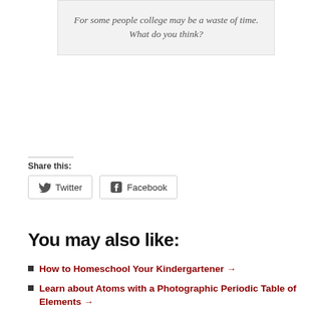For some people college may be a waste of time. What do you think?
Share this:
Twitter
Facebook
You may also like:
How to Homeschool Your Kindergartener →
Learn about Atoms with a Photographic Periodic Table of Elements →
How to Create Your Own Comprehensive Health & Nutrition Curriculum →
Interest-led History Lessons: Jewish History and